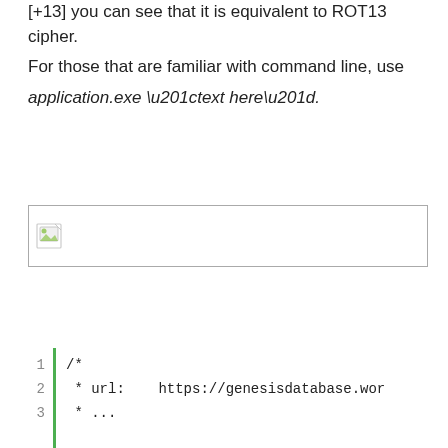[+13] you can see that it is equivalent to ROT13 cipher. For those that are familiar with command line, use application.exe “text here”.
[Figure (other): A broken/missing image placeholder with a small image icon and a horizontal line border.]
1
2
/*
 * url:    https://genesisdatabase.wor
 * ...